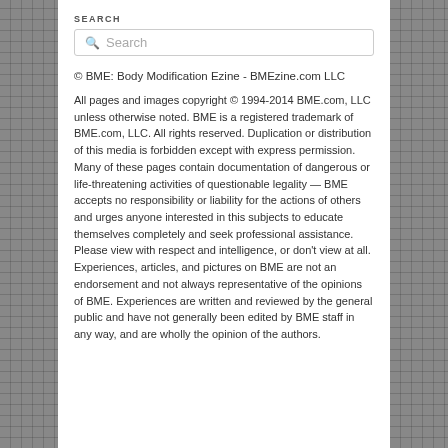SEARCH
© BME: Body Modification Ezine - BMEzine.com LLC
All pages and images copyright © 1994-2014 BME.com, LLC unless otherwise noted. BME is a registered trademark of BME.com, LLC. All rights reserved. Duplication or distribution of this media is forbidden except with express permission. Many of these pages contain documentation of dangerous or life-threatening activities of questionable legality — BME accepts no responsibility or liability for the actions of others and urges anyone interested in this subjects to educate themselves completely and seek professional assistance. Please view with respect and intelligence, or don't view at all. Experiences, articles, and pictures on BME are not an endorsement and not always representative of the opinions of BME. Experiences are written and reviewed by the general public and have not generally been edited by BME staff in any way, and are wholly the opinion of the authors.